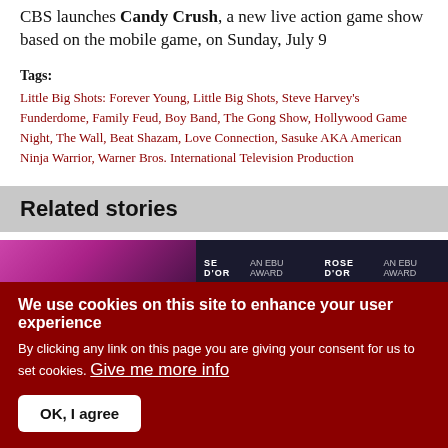CBS launches Candy Crush, a new live action game show based on the mobile game, on Sunday, July 9
Tags:
Little Big Shots: Forever Young, Little Big Shots, Steve Harvey's Funderdome, Family Feud, Boy Band, The Gong Show, Hollywood Game Night, The Wall, Beat Shazam, Love Connection, Sasuke AKA American Ninja Warrior, Warner Bros. International Television Production
Related stories
[Figure (photo): Two thumbnail images for related stories]
We use cookies on this site to enhance your user experience
By clicking any link on this page you are giving your consent for us to set cookies. Give me more info
OK, I agree